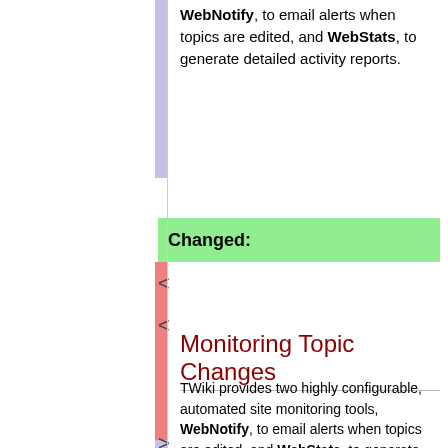WebNotify, to email alerts when topics are edited, and WebStats, to generate detailed activity reports.
Changed:
Monitoring Topic Changes
TWiki provides two highly configurable, automated site monitoring tools, WebNotify, to email alerts when topics are edited, and WebStats, to generate detailed activity reports.
WebNotify Recent Changes Alert